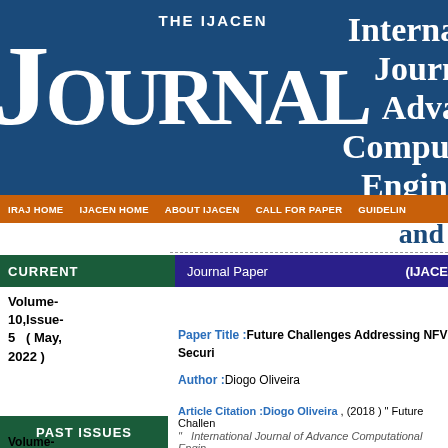THE IJACEN JOURNAL
International Journal of Advance Computational Engineering
IRAJ HOME   IJACEN HOME   ABOUT IJACEN   CALL FOR PAPER   GUIDELIN
and
CURRENT
(IJACE
Journal Paper
Volume-10,Issue-5 ( May, 2022 )
View More
Paper Title :Future Challenges Addressing NFV Securi
Author :Diogo Oliveira
Article Citation :Diogo Oliveira , (2018 ) " Future Challen
" International Journal of Advance Computational Engin
Volume-6, Issue-11
PAST ISSUES
Volume-